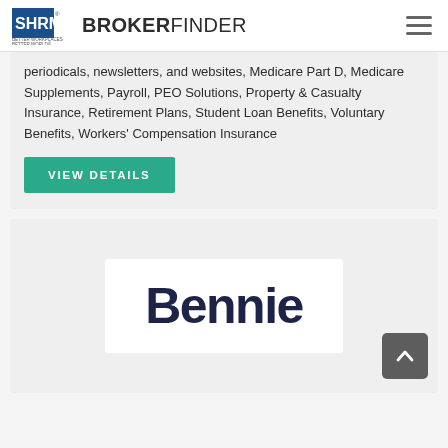SHRM BROKERFINDER
periodicals, newsletters, and websites, Medicare Part D, Medicare Supplements, Payroll, PEO Solutions, Property & Casualty Insurance, Retirement Plans, Student Loan Benefits, Voluntary Benefits, Workers' Compensation Insurance
VIEW DETAILS
[Figure (logo): Bennie company logo in dark navy text on white background]